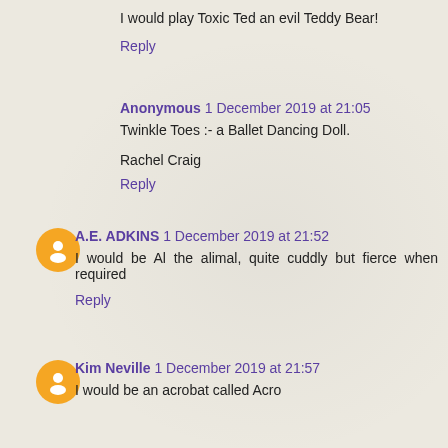I would play Toxic Ted an evil Teddy Bear!
Reply
Anonymous  1 December 2019 at 21:05
Twinkle Toes :- a Ballet Dancing Doll.
Rachel Craig
Reply
A.E. ADKINS  1 December 2019 at 21:52
I would be Al the alimal, quite cuddly but fierce when required
Reply
Kim Neville  1 December 2019 at 21:57
I would be an acrobat called Acro